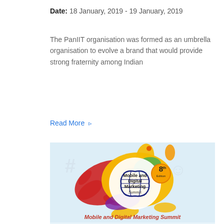Date: 18 January, 2019 - 19 January, 2019
The PanIIT organisation was formed as an umbrella organisation to evolve a brand that would provide strong fraternity among Indian
Read More ▹
[Figure (logo): Mobile and Digital Marketing Summit 8th Edition logo with colorful paint splash background including red, yellow, purple, green and orange colors. A circular yellow badge with a globe/phone graphic and text 'Mobile and Digital Marketing Summit' in stylized font. An orange badge with '8th Edition' text. Bottom text reads 'Mobile and Digital Marketing Summit' in red bold italic.]